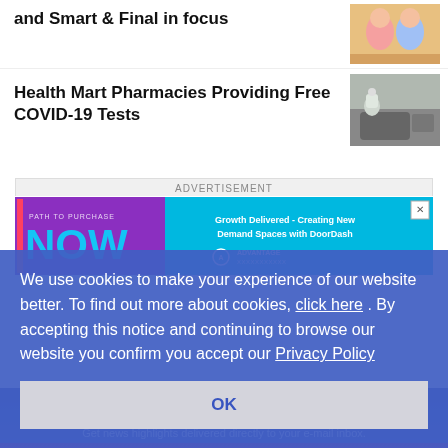and Smart & Final in focus
[Figure (photo): Thumbnail image of cartoon/toy figures]
Health Mart Pharmacies Providing Free COVID-19 Tests
[Figure (photo): Thumbnail image of COVID-19 testing scene with person in protective gear next to a car]
ADVERTISEMENT
[Figure (infographic): Advertisement banner: Path to Purchase NOW - Growth Delivered: Creating New Demand Spaces with DoorDash - Advantage logo]
We use cookies to make your experience of our website better. To find out more about cookies, click here . By accepting this notice and continuing to browse our website you confirm you accept our Privacy Policy
OK
Get the Newsletter
Get news highlights delivered directly to your e-mail inbox.